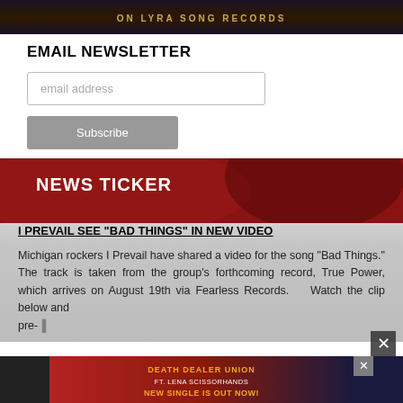[Figure (illustration): Dark atmospheric banner image with text 'ON LYRA SONG RECORDS' in gold lettering on a dark fantasy background with candle/fire imagery]
EMAIL NEWSLETTER
email address
Subscribe
NEWS TICKER
I PREVAIL SEE “BAD THINGS” IN NEW VIDEO
Michigan rockers I Prevail have shared a video for the song “Bad Things.” The track is taken from the group’s forthcoming record, True Power, which arrives on August 19th via Fearless Records.    Watch the clip below and pre-
[Figure (illustration): Advertisement banner for Death Dealer Union ft. Lena Scissorhands - New Single Is Out Now! with fiery dragon artwork]